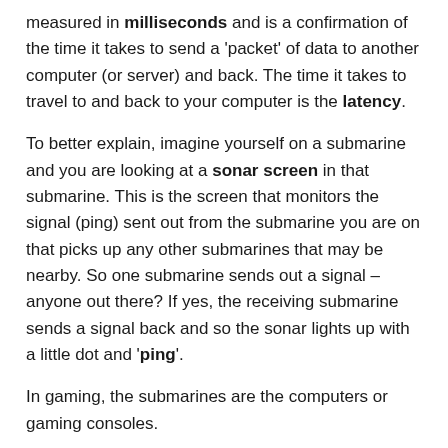measured in milliseconds and is a confirmation of the time it takes to send a 'packet' of data to another computer (or server) and back. The time it takes to travel to and back to your computer is the latency.
To better explain, imagine yourself on a submarine and you are looking at a sonar screen in that submarine. This is the screen that monitors the signal (ping) sent out from the submarine you are on that picks up any other submarines that may be nearby. So one submarine sends out a signal – anyone out there? If yes, the receiving submarine sends a signal back and so the sonar lights up with a little dot and 'ping'.
In gaming, the submarines are the computers or gaming consoles.
Latency
Latency is the round trip of a ping. Latency refers to the